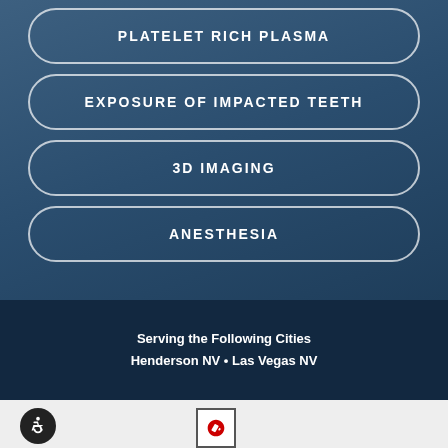PLATELET RICH PLASMA
EXPOSURE OF IMPACTED TEETH
3D IMAGING
ANESTHESIA
Serving the Following Cities
Henderson NV • Las Vegas NV
[Figure (illustration): Wheelchair accessibility icon in dark circle]
[Figure (logo): Yelp logo icon in a bordered square]